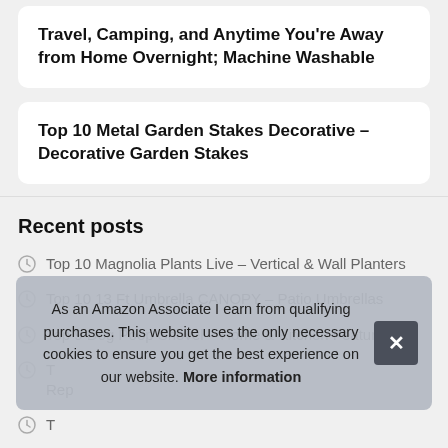Travel, Camping, and Anytime You're Away from Home Overnight; Machine Washable
Top 10 Metal Garden Stakes Decorative – Decorative Garden Stakes
Recent posts
Top 10 Magnolia Plants Live – Vertical & Wall Planters
Top 10 13 Ft Umbrella CANOPY – Patio Umbrellas
Top 9 Dog Poop Shovel – Home & Kitchen Features
T… Rep…
T…
Top 10 Twig Lights with Timer – Outdoor String Lights
As an Amazon Associate I earn from qualifying purchases. This website uses the only necessary cookies to ensure you get the best experience on our website. More information